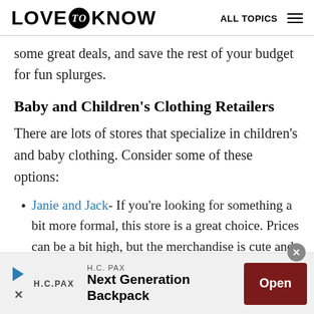LOVE to KNOW   ALL TOPICS
some great deals, and save the rest of your budget for fun splurges.
Baby and Children's Clothing Retailers
There are lots of stores that specialize in children's and baby clothing. Consider some of these options:
Janie and Jack- If you're looking for something a bit more formal, this store is a great choice. Prices can be a bit high, but the merchandise is cute and